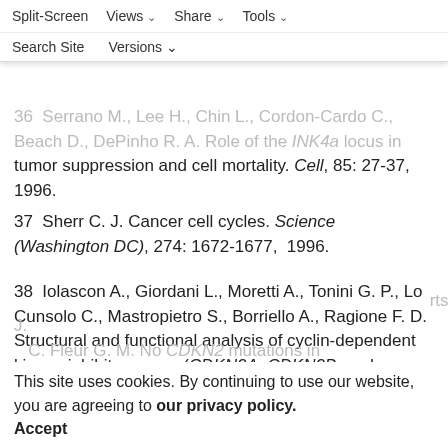melanoma susceptibility in vivo. Genes Dev, 11: 2822-2834, 1997.
Split-Screen | Views | Share | Tools | Search Site | Versions
36  Serrano M., Lee H., Chin L., Cordon-Cardo C., Beach D., DePinho R. A. Role of the INK4a locus in tumor suppression and cell mortality. Cell, 85: 27-37, 1996.
37   Sherr C. J. Cancer cell cycles. Science (Washington DC), 274: 1672-1677,  1996.
38   Iolascon A., Giordani L., Moretti A., Tonini G. P., Lo Cunsolo C., Mastropietro S., Borriello A., Ragione F. D. Structural and functional analysis of cyclin-dependent kinase inhibitor genes (CDKN2A, CDKN2B, and CDKN2C) in neuroblastoma. Pediatr. Res., 43: 139-144, 1998.
This site uses cookies. By continuing to use our website, you are agreeing to our privacy policy. Accept